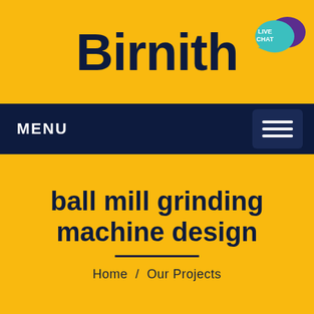Birnith
[Figure (screenshot): Live Chat bubble icon in teal and purple in top right corner of yellow header]
MENU
[Figure (screenshot): Hamburger menu icon button (three horizontal lines) in dark navy square, top right of nav bar]
ball mill grinding machine design
Home  /  Our Projects
[Figure (screenshot): Back to top arrow button (caret up) in yellow square, bottom right corner]